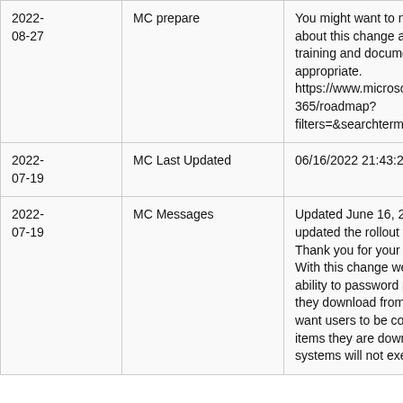| Date | Type | Content |
| --- | --- | --- |
| 2022-08-27 | MC prepare | You might want to notify yo... about this change and upda... training and documentation... appropriate. https://www.microsoft.com/... 365/roadmap? filters=&searchterms=93305 |
| 2022-07-19 | MC Last Updated | 06/16/2022 21:43:28 |
| 2022-07-19 | MC Messages | Updated June 16, 2022: We updated the rollout timeline. Thank you for your patience. With this change we are giv... ability to password protects... they download from quarar... want users to be confident t... items they are downloading... systems will not execute in... |